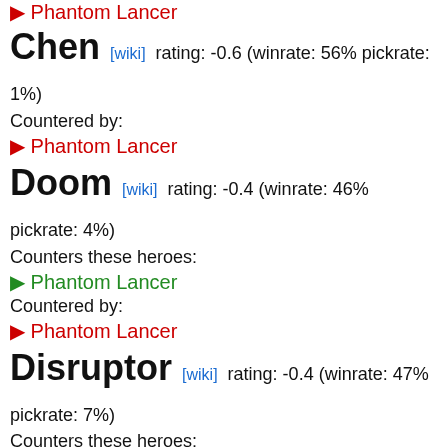▶ Phantom Lancer (countered by, top cut)
Chen [wiki] rating: -0.6 (winrate: 56% pickrate: 1%)
Countered by:
▶ Phantom Lancer
Doom [wiki] rating: -0.4 (winrate: 46% pickrate: 4%)
Counters these heroes:
▶ Phantom Lancer
Countered by:
▶ Phantom Lancer
Disruptor [wiki] rating: -0.4 (winrate: 47% pickrate: 7%)
Counters these heroes:
▶ Marci
Countered by:
▶ Phantom Lancer
Luna [wiki] rating: -0.4 (winrate: 48% pickrate: 5%)
Counters these heroes:
▶ Phantom Lancer